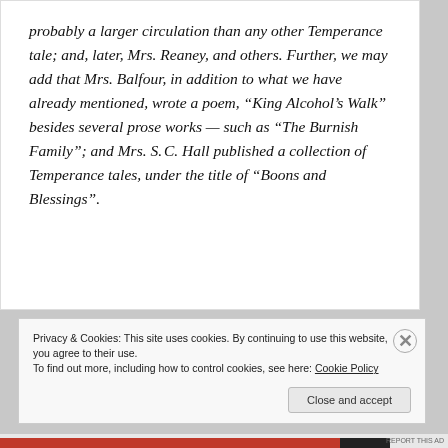probably a larger circulation than any other Temperance tale; and, later, Mrs. Reaney, and others. Further, we may add that Mrs. Balfour, in addition to what we have already mentioned, wrote a poem, “King Alcohol’s Walk” besides several prose works — such as “The Burnish Family”; and Mrs. S. C. Hall published a collection of Temperance tales, under the title of “Boons and Blessings”.
Privacy & Cookies: This site uses cookies. By continuing to use this website, you agree to their use.
To find out more, including how to control cookies, see here: Cookie Policy
Close and accept